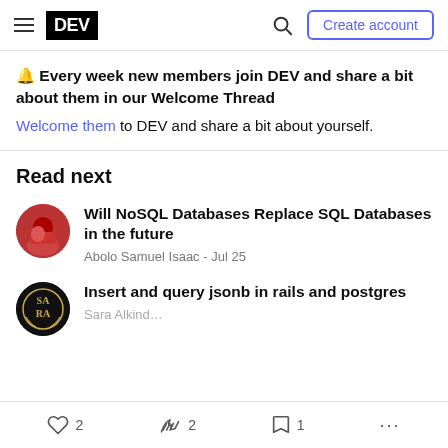DEV - Create account
🔔 Every week new members join DEV and share a bit about them in our Welcome Thread
Welcome them to DEV and share a bit about yourself.
Read next
Will NoSQL Databases Replace SQL Databases in the future
Abolo Samuel Isaac - Jul 25
Insert and query jsonb in rails and postgres